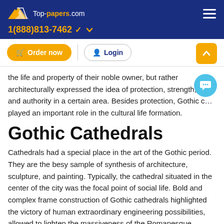Top-papers.com | 1(888)813-7462
the life and property of their noble owner, but rather architecturally expressed the idea of protection, strength, p... and authority in a certain area. Besides protection, Gothic c... played an important role in the cultural life formation.
Gothic Cathedrals
Cathedrals had a special place in the art of the Gothic period. They are the besy sample of synthesis of architecture, sculpture, and painting. Typically, the cathedral situated in the center of the city was the focal point of social life. Bold and complex frame construction of Gothic cathedrals highlighted the victory of human extraordinary engineering possibilities, allowed to lighten the massiveness of the Romanesque buildings, facilitate walls